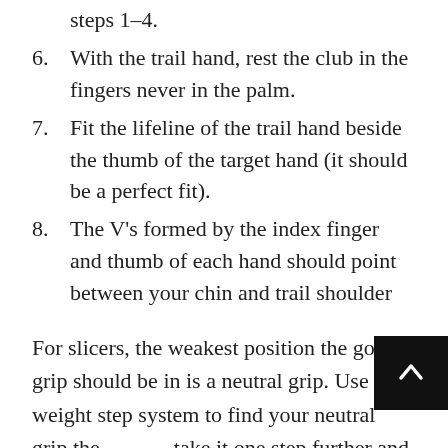steps 1-4.
6. With the trail hand, rest the club in the fingers never in the palm.
7. Fit the lifeline of the trail hand beside the thumb of the target hand (it should be a perfect fit).
8. The V’s formed by the index finger and thumb of each hand should point between your chin and trail shoulder
For slicers, the weakest position the golf grip should be in is a neutral grip. Use the weight step system to find your neutral grip the… take it one step further and strengthen the…
V grip a little more…